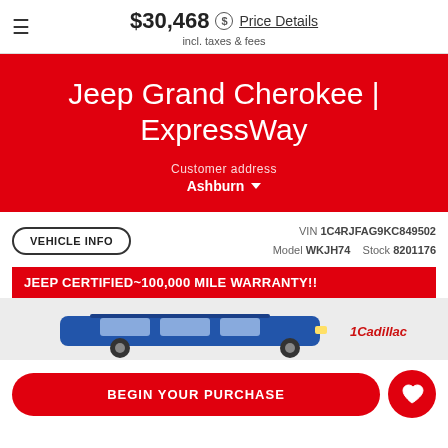$30,468 incl. taxes & fees  Price Details
Jeep Grand Cherokee | ExpressWay
Customer address
Ashburn
VEHICLE INFO  VIN 1C4RJFAG9KC849502  Model WKJH74  Stock 8201176
JEEP CERTIFIED~100,000 MILE WARRANTY!!
[Figure (photo): Partial view of a Jeep Grand Cherokee vehicle, blue color, with dealership branding]
BEGIN YOUR PURCHASE